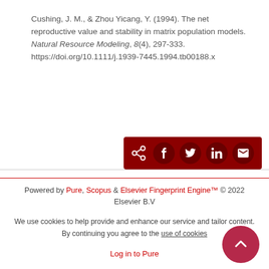Cushing, J. M., & Zhou Yicang, Y. (1994). The net reproductive value and stability in matrix population models. Natural Resource Modeling, 8(4), 297-333. https://doi.org/10.1111/j.1939-7445.1994.tb00188.x
[Figure (other): Dark red share bar with share/Facebook/Twitter/LinkedIn/Email icons]
Powered by Pure, Scopus & Elsevier Fingerprint Engine™ © 2022 Elsevier B.V
We use cookies to help provide and enhance our service and tailor content. By continuing you agree to the use of cookies
Log in to Pure
About web accessibility
Contact us